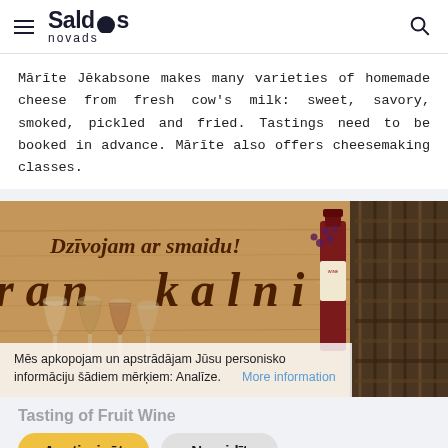Saldus novads
Mārīte Jēkabsone makes many varieties of homemade cheese from fresh cow's milk: sweet, savory, smoked, pickled and fried. Tastings need to be booked in advance. Mārīte also offers cheesemaking classes.
[Figure (photo): Photo of a wooden sign reading 'Dzīvojam ar smaidu!' and 'Granskalni' with wine glasses and a bottle of red wine in the foreground.]
Mēs apkopojam un apstrādājam Jūsu personisko informāciju šādiem mērķiem: Analīze. More information
Tasting of Fruit Wine
Apstiprināt
Noraidīt
"Granskalni", Gaiku pagasts, Saldus novads
56.819709, 22.571418